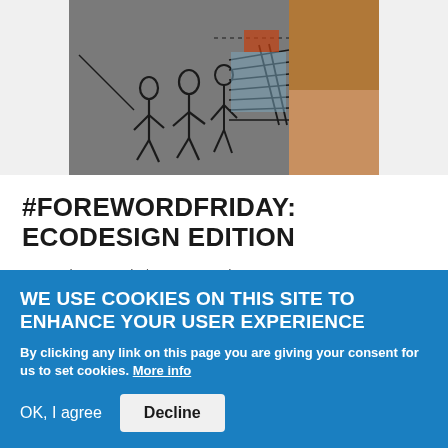[Figure (illustration): Sketch/illustration of figures (people) with architectural elements, partially shown photograph on right side with warm tones]
#FOREWORDFRIDAY: ECODESIGN EDITION
By Meghan Bartels / On June 26th, 2015
MORE
WE USE COOKIES ON THIS SITE TO ENHANCE YOUR USER EXPERIENCE
By clicking any link on this page you are giving your consent for us to set cookies. More info
OK, I agree
Decline